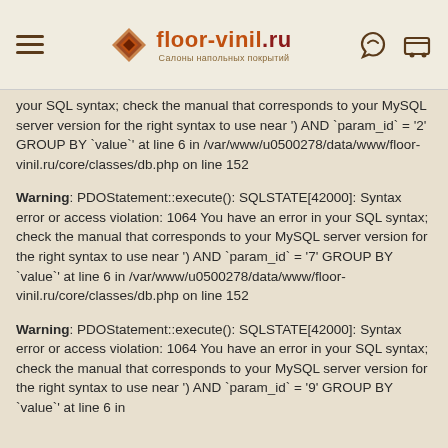floor-vinil.ru — Салоны напольных покрытий
your SQL syntax; check the manual that corresponds to your MySQL server version for the right syntax to use near ') AND `param_id` = '2' GROUP BY `value`' at line 6 in /var/www/u0500278/data/www/floor-vinil.ru/core/classes/db.php on line 152
Warning: PDOStatement::execute(): SQLSTATE[42000]: Syntax error or access violation: 1064 You have an error in your SQL syntax; check the manual that corresponds to your MySQL server version for the right syntax to use near ') AND `param_id` = '7' GROUP BY `value`' at line 6 in /var/www/u0500278/data/www/floor-vinil.ru/core/classes/db.php on line 152
Warning: PDOStatement::execute(): SQLSTATE[42000]: Syntax error or access violation: 1064 You have an error in your SQL syntax; check the manual that corresponds to your MySQL server version for the right syntax to use near ') AND `param_id` = '9' GROUP BY `value`' at line 6 in